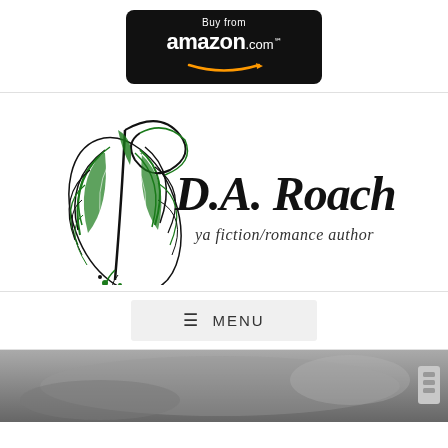[Figure (logo): Buy from amazon.com button with black rounded rectangle background and orange smile arrow]
[Figure (logo): D.A. Roach ya fiction/romance author logo with decorative green and black feather illustration]
≡ MENU
[Figure (photo): Partial black and white photo at bottom of page, appears to show a person or figure]